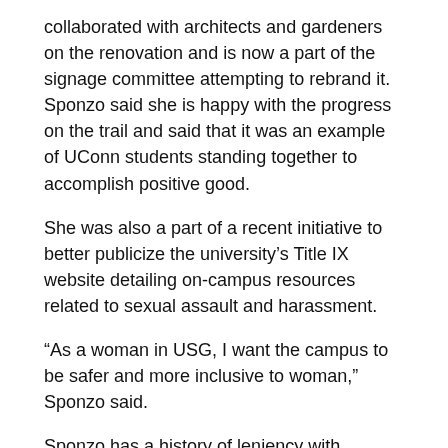collaborated with architects and gardeners on the renovation and is now a part of the signage committee attempting to rebrand it. Sponzo said she is happy with the progress on the trail and said that it was an example of UConn students standing together to accomplish positive good.
She was also a part of a recent initiative to better publicize the university's Title IX website detailing on-campus resources related to sexual assault and harassment.
“As a woman in USG, I want the campus to be safer and more inclusive to woman,” Sponzo said.
Sponzo has a history of leniency with students who come before USG for problems in funding their club due to filing errors or similar issues. She hopes to simplify the funding process if elected.